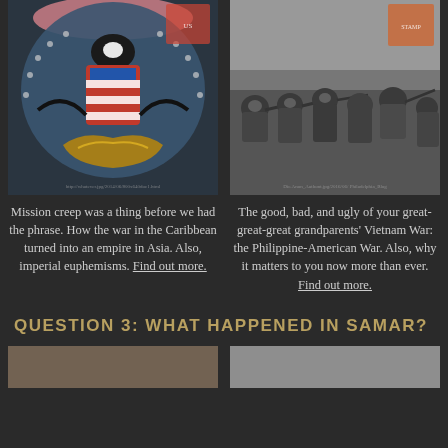[Figure (photo): Decorative American eagle postcard with patriotic imagery, stars and stripes shield, colorful feathers]
[Figure (photo): Black and white historical photo of soldiers in a trench or ditch with rifles, Philippine-American War era]
Mission creep was a thing before we had the phrase. How the war in the Caribbean turned into an empire in Asia. Also, imperial euphemisms. Find out more.
The good, bad, and ugly of your great-great-great grandparents' Vietnam War: the Philippine-American War. Also, why it matters to you now more than ever. Find out more.
QUESTION 3: WHAT HAPPENED IN SAMAR?
[Figure (photo): Partial preview image at bottom left]
[Figure (photo): Partial preview image at bottom right]